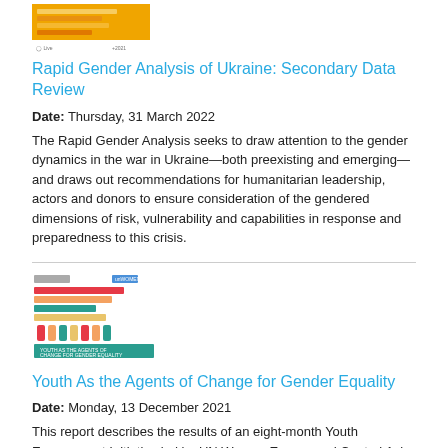[Figure (illustration): Thumbnail cover image of the Rapid Gender Analysis report with yellow/orange colored bars]
Rapid Gender Analysis of Ukraine: Secondary Data Review
Date: Thursday, 31 March 2022
The Rapid Gender Analysis seeks to draw attention to the gender dynamics in the war in Ukraine—both preexisting and emerging—and draws out recommendations for humanitarian leadership, actors and donors to ensure consideration of the gendered dimensions of risk, vulnerability and capabilities in response and preparedness to this crisis.
[Figure (illustration): Thumbnail cover image of the Youth As the Agents of Change for Gender Equality report with colorful horizontal bars and figures]
Youth As the Agents of Change for Gender Equality
Date: Monday, 13 December 2021
This report describes the results of an eight-month Youth Engagement Initiative led by UN Women Europe and Central Asia